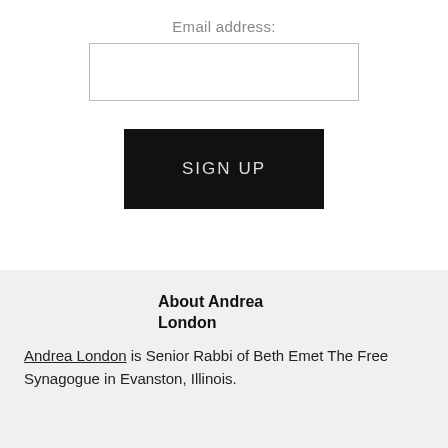Email address:
[Figure (other): Email address input text box (empty)]
[Figure (other): SIGN UP button, black background with light gray text]
About Andrea London
Andrea London is Senior Rabbi of Beth Emet The Free Synagogue in Evanston, Illinois.